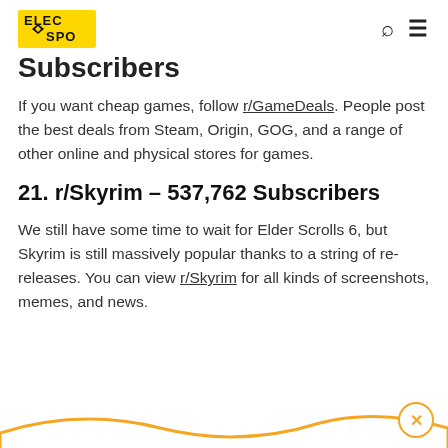ELEC SPO
Subscribers
If you want cheap games, follow r/GameDeals. People post the best deals from Steam, Origin, GOG, and a range of other online and physical stores for games.
21. r/Skyrim – 537,762 Subscribers
We still have some time to wait for Elder Scrolls 6, but Skyrim is still massively popular thanks to a string of re-releases. You can view r/Skyrim for all kinds of screenshots, memes, and news.